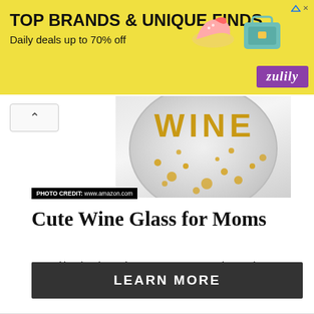[Figure (screenshot): Yellow banner advertisement for Zulily showing 'TOP BRANDS & UNIQUE FINDS / Daily deals up to 70% off' with product images of a pink shoe and teal bag, and purple Zulily logo badge]
[Figure (photo): Stemless wine glass with gold 'WINE' lettering and gold confetti dots, partially cropped showing the rounded bowl of the glass]
PHOTO CREDIT: www.amazon.com
Cute Wine Glass for Moms
Remind her that she can have time to 'wine' too! This stemless wine glass is too witty and cute to resist!
LEARN MORE